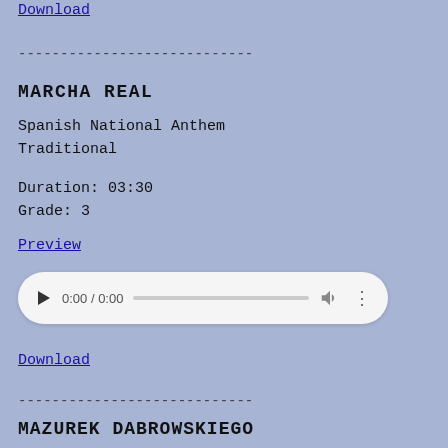Download
----------------------------
MARCHA REAL
Spanish National Anthem
Traditional
Duration: 03:30
Grade: 3
Preview
[Figure (other): Audio player widget showing 0:00 / 0:00 with play button, progress bar, volume icon, and more options icon]
Download
----------------------------
MAZUREK DABROWSKIEGO
Polish Mazurka
Traditional